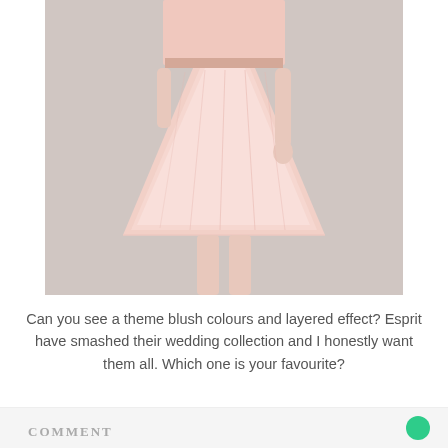[Figure (photo): Photo of a woman wearing a blush pink two-piece outfit consisting of a lace crop top and a layered tulle skirt. The background is light grey. Only the torso and legs are visible.]
Can you see a theme blush colours and layered effect? Esprit have smashed their wedding collection and I honestly want them all. Which one is your favourite?
COMMENT